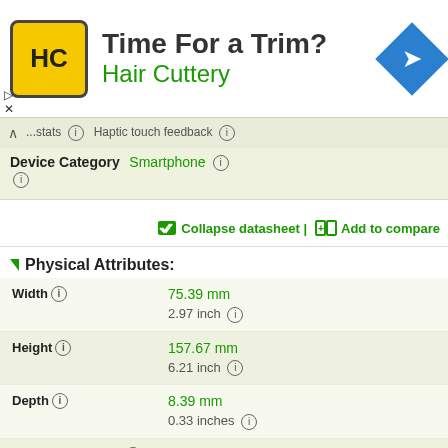[Figure (screenshot): Hair Cuttery advertisement banner with yellow logo featuring HC letters, 'Time For a Trim?' headline, and Hair Cuttery brand name in green, with a blue diamond navigation arrow icon on the right]
Device Category  Smartphone
Collapse datasheet | Add to compare
Physical Attributes:
| Attribute | Value |
| --- | --- |
| Width | 75.39 mm / 2.97 inch |
| Height | 157.67 mm / 6.21 inch |
| Depth | 8.39 mm / 0.33 inches |
| Bounding Volume | 99.7 ccm |
| Mass | 169 g / 5.96 ounces |